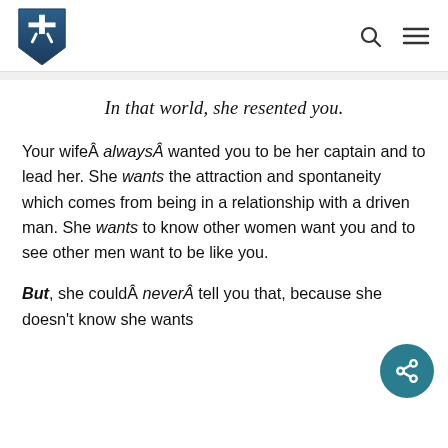Navigation header with logo and icons
In that world, she resented you.
Your wifeÂ alwaysÂ wanted you to be her captain and to lead her. She wants the attraction and spontaneity which comes from being in a relationship with a driven man. She wants to know other women want you and to see other men want to be like you.
But, she couldÂ neverÂ tell you that, because she doesn’t know she wants